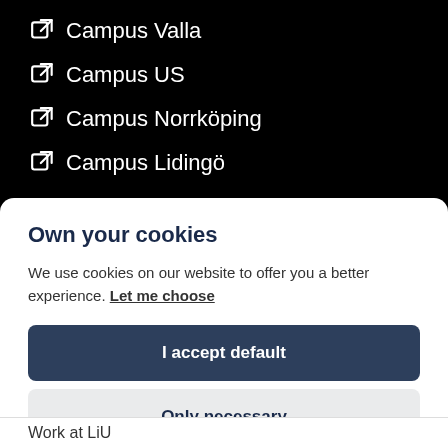🔗 Campus Valla
🔗 Campus US
🔗 Campus Norrköping
🔗 Campus Lidingö
Own your cookies
We use cookies on our website to offer you a better experience. Let me choose
I accept default
Only necessary
Work at LiU